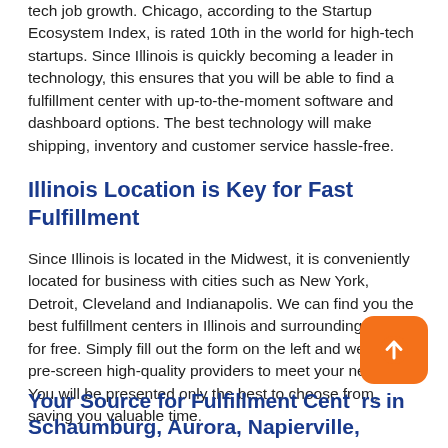tech job growth. Chicago, according to the Startup Ecosystem Index, is rated 10th in the world for high-tech startups. Since Illinois is quickly becoming a leader in technology, this ensures that you will be able to find a fulfillment center with up-to-the-moment software and dashboard options. The best technology will make shipping, inventory and customer service hassle-free.
Illinois Location is Key for Fast Fulfillment
Since Illinois is located in the Midwest, it is conveniently located for business with cities such as New York, Detroit, Cleveland and Indianapolis. We can find you the best fulfillment centers in Illinois and surrounding states for free. Simply fill out the form on the left and we will pre-screen high-quality providers to meet your needs. You will be presented only the best to choose from, saving you valuable time.
Your Source for Fulfillment Centers in Schaumburg, Aurora, Napierville,